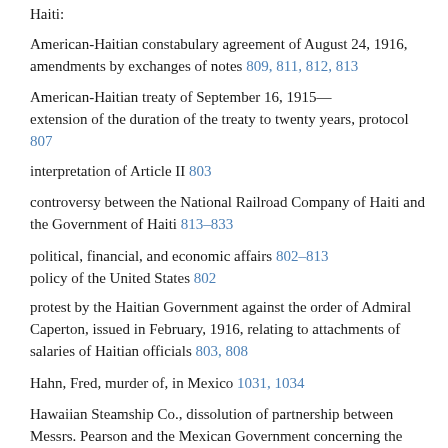Haiti:
American-Haitian constabulary agreement of August 24, 1916, amendments by exchanges of notes 809, 811, 812, 813
American-Haitian treaty of September 16, 1915—extension of the duration of the treaty to twenty years, protocol 807

interpretation of Article II 803
controversy between the National Railroad Company of Haiti and the Government of Haiti 813–833
political, financial, and economic affairs 802–813
policy of the United States 802
protest by the Haitian Government against the order of Admiral Caperton, issued in February, 1916, relating to attachments of salaries of Haitian officials 803, 808
Hahn, Fred, murder of, in Mexico 1031, 1034
Hawaiian Steamship Co., dissolution of partnership between Messrs. Pearson and the Mexican Government concerning the steamship company 1016